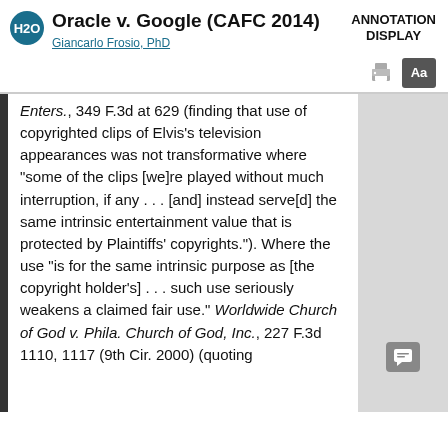Oracle v. Google (CAFC 2014) | ANNOTATION DISPLAY
Giancarlo Frosio, PhD
Enters., 349 F.3d at 629 (finding that use of copyrighted clips of Elvis's television appearances was not transformative where "some of the clips [we]re played without much interruption, if any . . . [and] instead serve[d] the same intrinsic entertainment value that is protected by Plaintiffs' copyrights."). Where the use "is for the same intrinsic purpose as [the copyright holder's] . . . such use seriously weakens a claimed fair use." Worldwide Church of God v. Phila. Church of God, Inc., 227 F.3d 1110, 1117 (9th Cir. 2000) (quoting